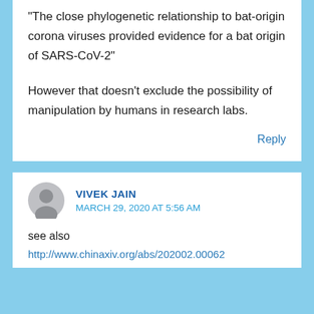“The close phylogenetic relationship to bat-origin corona viruses provided evidence for a bat origin of SARS-CoV-2”
However that doesn’t exclude the possibility of manipulation by humans in research labs.
Reply
VIVEK JAIN
MARCH 29, 2020 AT 5:56 AM
see also
http://www.chinaxiv.org/abs/202002.00062